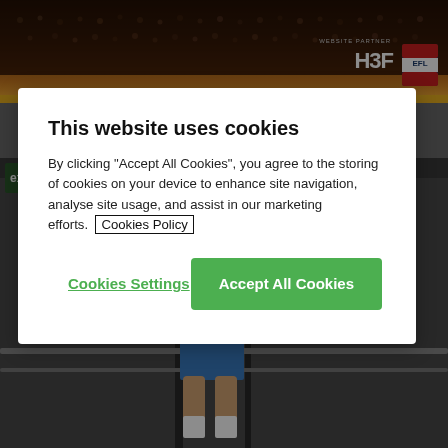[Figure (screenshot): Sports club website background showing stadium/crowd header image with HBF logo and partner badge, yellow bar, and a football player photo in blue kit below]
8 February 2022
This website uses cookies
By clicking "Accept All Cookies", you agree to the storing of cookies on your device to enhance site navigation, analyse site usage, and assist in our marketing efforts.  Cookies Policy
Cookies Settings
Accept All Cookies